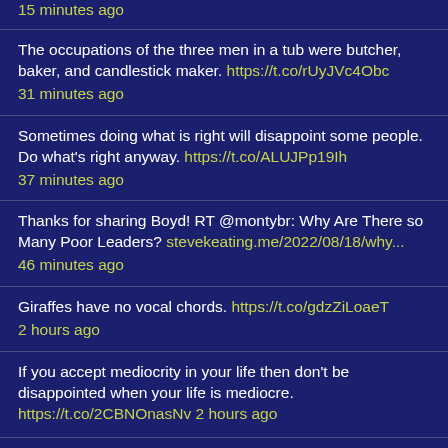15 minutes ago
The occupations of the three men in a tub were butcher, baker, and candlestick maker. https://t.co/rUyJVc4Obc
31 minutes ago
Sometimes doing what is right will disappoint some people. Do what's right anyway. https://t.co/ALUJPp19Ih
37 minutes ago
Thanks for sharing Boyd! RT @montybr: Why Are There so Many Poor Leaders? stevekeating.me/2022/08/18/why...
46 minutes ago
Giraffes have no vocal chords. https://t.co/gdzZiLoaeT
2 hours ago
If you accept mediocrity in your life then don't be disappointed when your life is mediocre. https://t.co/2CBNOnasNv 2 hours ago
Successful Communication